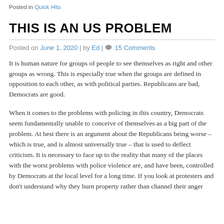Posted in Quick Hits
THIS IS AN US PROBLEM
Posted on June 1, 2020 | by Ed | 15 Comments
It is human nature for groups of people to see themselves as right and other groups as wrong. This is especially true when the groups are defined in opposition to each other, as with political parties. Republicans are bad, Democrats are good.
When it comes to the problems with policing in this country, Democrats seem fundamentally unable to conceive of themselves as a big part of the problem. At best there is an argument about the Republicans being worse – which is true, and is almost universally true – that is used to deflect criticism. It is necessary to face up to the reality that many of the places with the worst problems with police violence are, and have been, controlled by Democrats at the local level for a long time. If you look at protesters and don't understand why they burn property rather than channel their anger